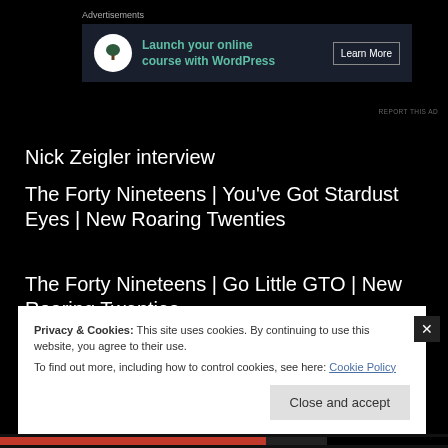Advertisements
[Figure (screenshot): Advertisement banner: Launch your online course with WordPress — Learn More button]
Nick Zeigler interview
The Forty Nineteens | You've Got Stardust Eyes | New Roaring Twenties
The Forty Nineteens | Go Little GTO | New Roaring Twenties
The Forty Nineteens | Tell Me | New Roaring Twenties
Privacy & Cookies: This site uses cookies. By continuing to use this website, you agree to their use.
To find out more, including how to control cookies, see here: Cookie Policy